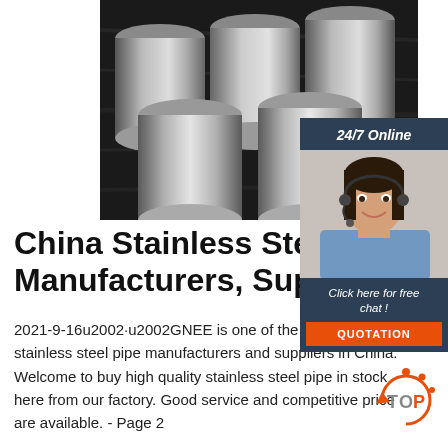[Figure (photo): Stainless steel cylindrical rods/pipes stacked together, black and white photo]
[Figure (infographic): 24/7 Online chat widget with photo of female customer service representative wearing headset, 'Click here for free chat!' text, and orange QUOTATION button]
China Stainless Steel P... Manufacturers, Supplie...
2021-9-16u2002·u2002GNEE is one of the professional stainless steel pipe manufacturers and suppliers in China. Welcome to buy high quality stainless steel pipe in stock here from our factory. Good service and competitive price are available. - Page 2
[Figure (logo): TOP badge logo - orange and grey circular arrow logo with TOP text]